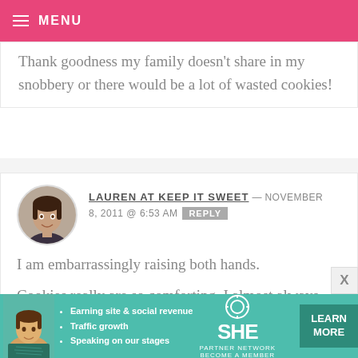MENU
Thank goodness my family doesn't share in my snobbery or there would be a lot of wasted cookies!
LAUREN AT KEEP IT SWEET — NOVEMBER 8, 2011 @ 6:53 AM REPLY
I am embarrassingly raising both hands.

Cookies really are so comforting. I almost always have a batch in the freezer. In fact, we just moved, and my
[Figure (infographic): SHE Partner Network advertisement banner with woman photo, bullet points about earning site & social revenue, traffic growth, speaking on stages, SHE logo, and LEARN MORE button]